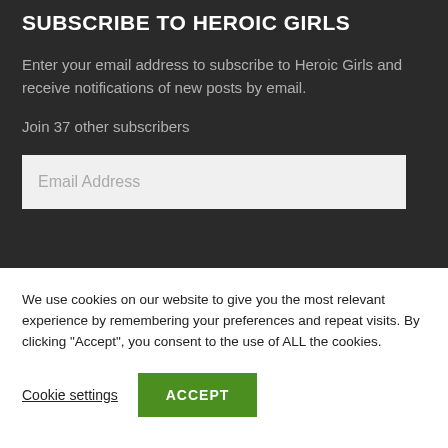SUBSCRIBE TO HEROIC GIRLS
Enter your email address to subscribe to Heroic Girls and receive notifications of new posts by email.
Join 37 other subscribers
Email Address
We use cookies on our website to give you the most relevant experience by remembering your preferences and repeat visits. By clicking "Accept", you consent to the use of ALL the cookies.
Cookie settings
ACCEPT